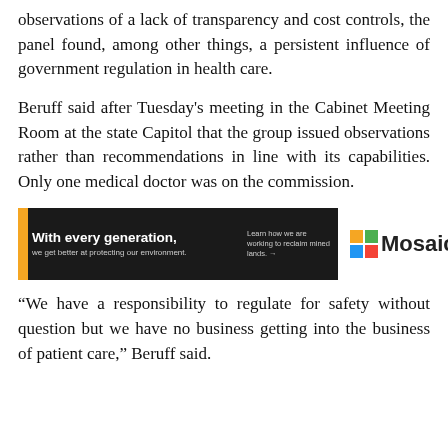observations of a lack of transparency and cost controls, the panel found, among other things, a persistent influence of government regulation in health care.
Beruff said after Tuesday's meeting in the Cabinet Meeting Room at the state Capitol that the group issued observations rather than recommendations in line with its capabilities. Only one medical doctor was on the commission.
[Figure (other): Advertisement banner for Mosaic company reading 'With every generation, we get better at protecting our environment.' with a call to action 'Learn how we are working to reclaim mined lands.' and the Mosaic logo.]
“We have a responsibility to regulate for safety without question but we have no business getting into the business of patient care,” Beruff said.